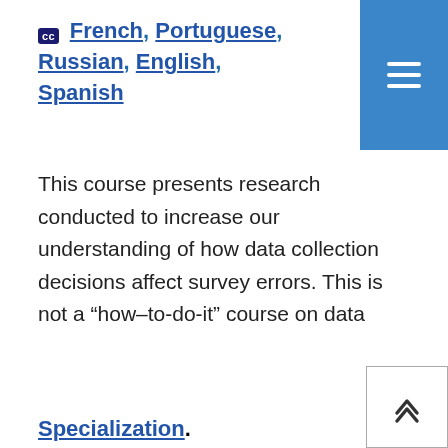CC French, Portuguese, Russian, English, Spanish
This course presents research conducted to increase our understanding of how data collection decisions affect survey errors. This is not a “how–to-do-it” course on data collection. We are interested in the quality
This website uses cookies to help us provide you a better experience. By clicking any link on this page you are giving your consent for us to set cookies. Learn more
Got it!
Specialization.